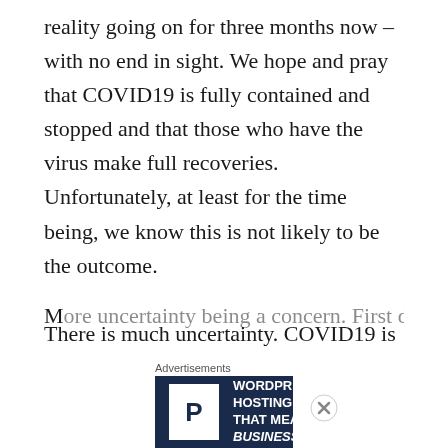reality going on for three months now – with no end in sight. We hope and pray that COVID19 is fully contained and stopped and that those who have the virus make full recoveries. Unfortunately, at least for the time being, we know this is not likely to be the outcome.

There is much uncertainty. COVID19 is a supply shock. COVID19 is a demand shock. More...
[Figure (other): WordPress Hosting advertisement banner with logo P, text 'WORDPRESS HOSTING THAT MEANS BUSINESS.' and an OPEN sign image]